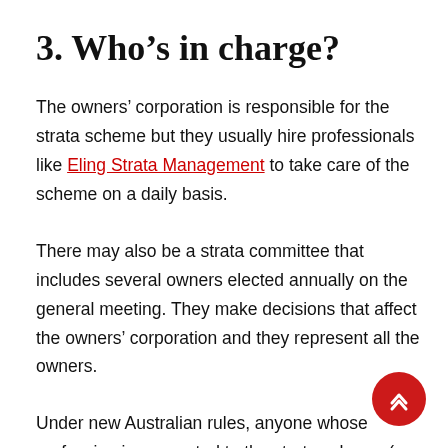3. Who's in charge?
The owners' corporation is responsible for the strata scheme but they usually hire professionals like Eling Strata Management to take care of the scheme on a daily basis.
There may also be a strata committee that includes several owners elected annually on the general meeting. They make decisions that affect the owners' corporation and they represent all the owners.
Under new Australian rules, anyone whose profession is connected to the strata scheme (a building manager, rental agent) can't be elected as a member of the strata